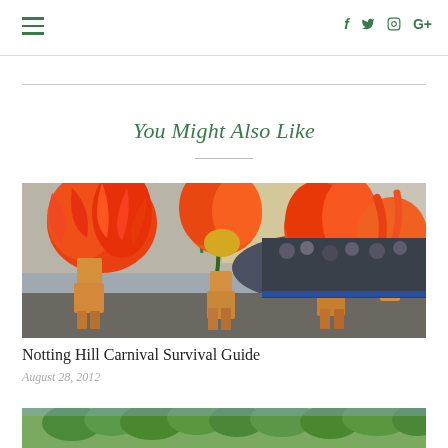Navigation header with hamburger menu and social icons: f (Facebook), Twitter bird, Instagram camera, G+ (Google Plus)
You Might Also Like
[Figure (photo): Carnival performers in vibrant orange and red feathered costumes parading at Notting Hill Carnival, with spectators in the background]
Notting Hill Carnival Survival Guide
August 28, 2012
[Figure (photo): Partial view of a second article thumbnail showing green trees]